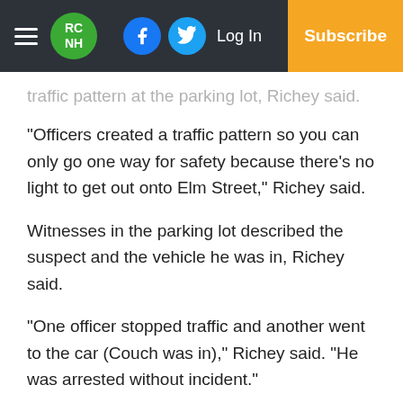RC NH | Log In | Subscribe
traffic pattern at the parking lot, Richey said.
“Officers created a traffic pattern so you can only go one way for safety because there’s no light to get out onto Elm Street,” Richey said.
Witnesses in the parking lot described the suspect and the vehicle he was in, Richey said.
“One officer stopped traffic and another went to the car (Couch was in),” Richey said. “He was arrested without incident.”